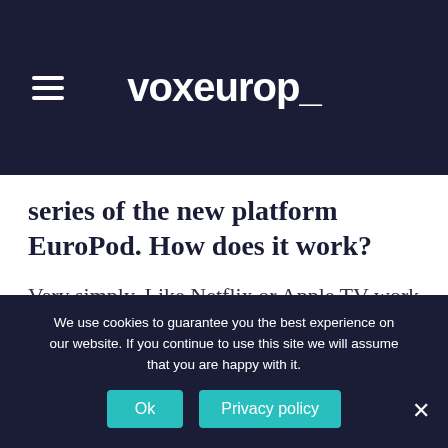voxeurop_
series of the new platform EuroPod. How does it work?
Very simply. Like Netflix or Apple TV work for movies or series: there is a catalog of podcasts, in several languages, from which the user can draw.
We use cookies to guarantee you the best experience on our website. If you continue to use this site we will assume that you are happy with it.